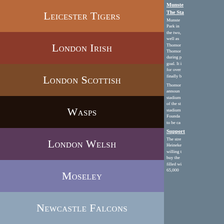[Figure (other): Stacked horizontal color bands, each labeled with a rugby club name in white small-caps text. Bands from top to bottom: Leicester Tigers (brown-orange), London Irish (dark red), London Scottish (medium brown), Wasps (very dark brown/black), London Welsh (dark purple), Moseley (medium purple-blue), Newcastle Falcons (light blue-grey).]
Munste...
The Sta...
Munster... Park in ... the two, ... well as ... Thomor... Thomor... during p... goal. It i... for over... finally b...
Thomor... announ... stadium... of the st... stadium... Founda... to be ca...
Support...
The stre... Heineke... willing t... buy the ... filled wi... 65,000...